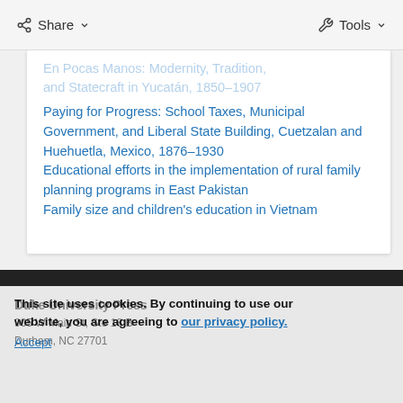Share  Tools
En Pocas Manos: Modernity, Tradition, and Statecraft in Yucatán, 1850–1907
Paying for Progress: School Taxes, Municipal Government, and Liberal State Building, Cuetzalan and Huehuetla, Mexico, 1876–1930
Educational efforts in the implementation of rural family planning programs in East Pakistan
Family size and children's education in Vietnam
This site uses cookies. By continuing to use our website, you are agreeing to our privacy policy. Accept
Duke University Press
905 W Main St, Ste 18 B
Durham, NC 27701